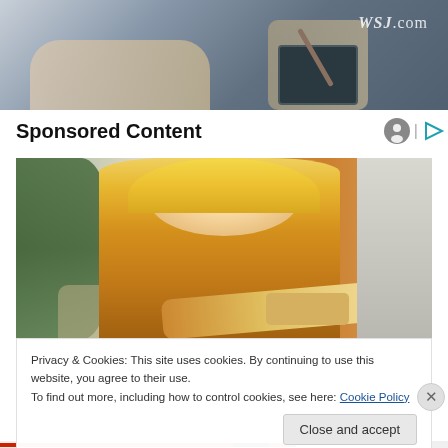[Figure (photo): Partial photo of hands holding a tablet/phone device with WSJ.com watermark visible in top right]
Sponsored Content
[Figure (photo): Photo of a blonde woman in a yellow knit sweater looking down at her arm, appearing stressed or concerned, sitting at a table]
Privacy & Cookies: This site uses cookies. By continuing to use this website, you agree to their use.
To find out more, including how to control cookies, see here: Cookie Policy